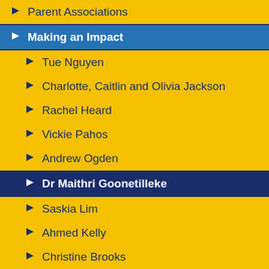Parent Associations
Making an Impact
Tue Nguyen
Charlotte, Caitlin and Olivia Jackson
Rachel Heard
Vickie Pahos
Andrew Ogden
Dr Maithri Goonetilleke
Saskia Lim
Ahmed Kelly
Christine Brooks
Hugh van Cuylenburg and Martin Heppell
Jacob Wilkinson
Arabia